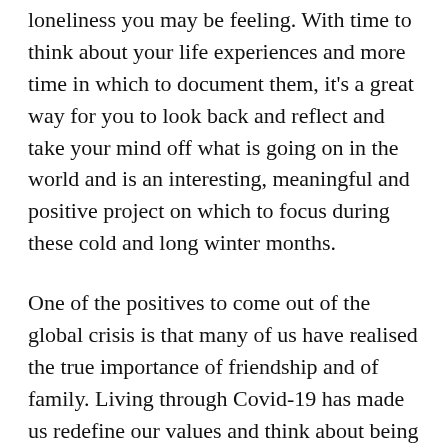loneliness you may be feeling. With time to think about your life experiences and more time in which to document them, it's a great way for you to look back and reflect and take your mind off what is going on in the world and is an interesting, meaningful and positive project on which to focus during these cold and long winter months.
One of the positives to come out of the global crisis is that many of us have realised the true importance of friendship and of family. Living through Covid-19 has made us redefine our values and think about being more kind, more grateful and more